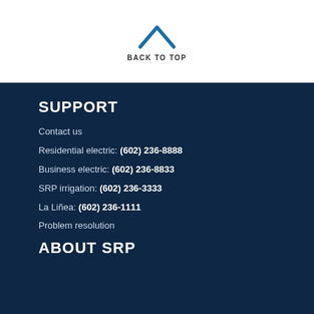[Figure (illustration): Blue upward chevron/caret arrow icon above the text BACK TO TOP]
BACK TO TOP
SUPPORT
Contact us
Residential electric: (602) 236-8888
Business electric: (602) 236-8833
SRP irrigation: (602) 236-3333
La Liñea: (602) 236-1111
Problem resolution
ABOUT SRP